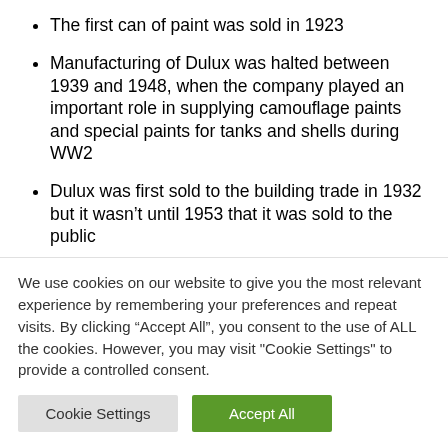The first can of paint was sold in 1923
Manufacturing of Dulux was halted between 1939 and 1948, when the company played an important role in supplying camouflage paints and special paints for tanks and shells during WW2
Dulux was first sold to the building trade in 1932 but it wasn't until 1953 that it was sold to the public
Today Dulux is the nation's favourite paint and sells 108 million L of paint each year
In a cheeky nod to the decade in which the dog first appeared on the Dulux adverts, the background music is ‘Maybe Tomorrow’ taken from the
We use cookies on our website to give you the most relevant experience by remembering your preferences and repeat visits. By clicking “Accept All”, you consent to the use of ALL the cookies. However, you may visit "Cookie Settings" to provide a controlled consent.